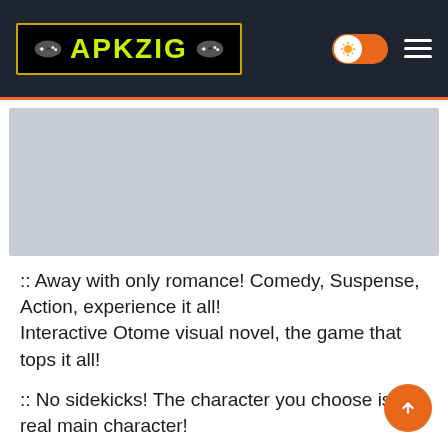APKZIG
[Figure (screenshot): Gray placeholder image area below the header]
:: Away with only romance! Comedy, Suspense, Action, experience it all!
Interactive Otome visual novel, the game that tops it all!
:: No sidekicks! The character you choose is the real main character!
Touching character stories and beautiful ending illustrations are waiting for you!
:: Give him gifts! Maybe... You get to see a